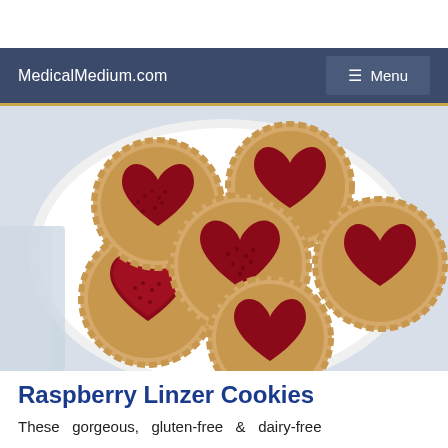MedicalMedium.com  ☰ Menu
[Figure (photo): Overhead view of raspberry Linzer cookies with heart-shaped cutouts filled with red raspberry jam, arranged on a white plate with a light blue cloth in the background]
Raspberry Linzer Cookies
These gorgeous, gluten-free & dairy-free